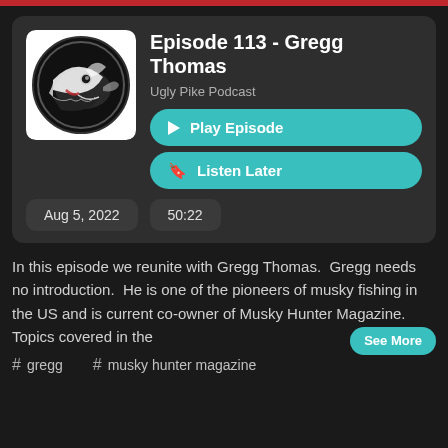[Figure (logo): Ugly Pike Podcast logo: stylized fish head in black and white circle on white background]
Episode 113 - Gregg Thomas
Ugly Pike Podcast
▶ Play Episode
🔖 Listen Later
Aug 5, 2022
50:22
In this episode we reunite with Gregg Thomas.  Gregg needs no introduction.  He is one of the pioneers of musky fishing in the US and is current co-owner of Musky Hunter Magazine.  Topics covered in the
See More
# gregg
# musky hunter magazine